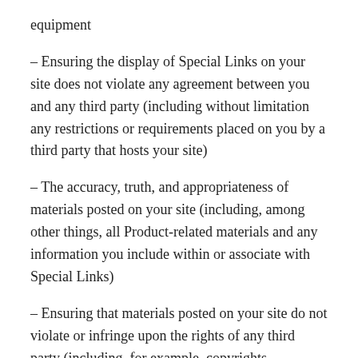equipment
– Ensuring the display of Special Links on your site does not violate any agreement between you and any third party (including without limitation any restrictions or requirements placed on you by a third party that hosts your site)
– The accuracy, truth, and appropriateness of materials posted on your site (including, among other things, all Product-related materials and any information you include within or associate with Special Links)
– Ensuring that materials posted on your site do not violate or infringe upon the rights of any third party (including, for example, copyrights, trademarks, privacy, or other personal or proprietary rights)